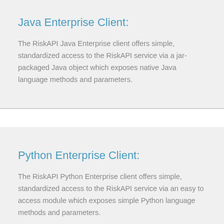Java Enterprise Client:
The RiskAPI Java Enterprise client offers simple, standardized access to the RiskAPI service via a jar-packaged Java object which exposes native Java language methods and parameters.
Python Enterprise Client:
The RiskAPI Python Enterprise client offers simple, standardized access to the RiskAPI service via an easy to access module which exposes simple Python language methods and parameters.